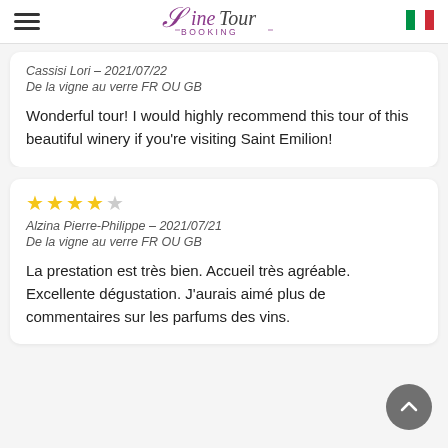Wine Tour Booking
Cassisi Lori – 2021/07/22
De la vigne au verre FR OU GB
Wonderful tour! I would highly recommend this tour of this beautiful winery if you're visiting Saint Emilion!
Alzina Pierre-Philippe – 2021/07/21
De la vigne au verre FR OU GB
La prestation est très bien. Accueil très agréable. Excellente dégustation. J'aurais aimé plus de commentaires sur les parfums des vins.